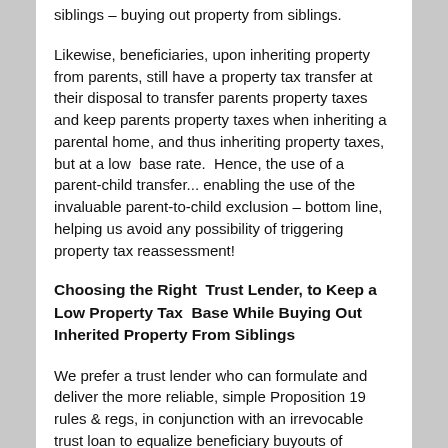siblings – buying out property from siblings.
Likewise, beneficiaries, upon inheriting property from parents, still have a property tax transfer at their disposal to transfer parents property taxes and keep parents property taxes when inheriting a parental home, and thus inheriting property taxes, but at a low base rate. Hence, the use of a parent-child transfer... enabling the use of the invaluable parent-to-child exclusion – bottom line, helping us avoid any possibility of triggering property tax reassessment!
Choosing the Right Trust Lender, to Keep a Low Property Tax Base While Buying Out Inherited Property From Siblings
We prefer a trust lender who can formulate and deliver the more reliable, simple Proposition 19 rules & regs, in conjunction with an irrevocable trust loan to equalize beneficiary buyouts of inherited property shares.
We have found that any type of unconventional property